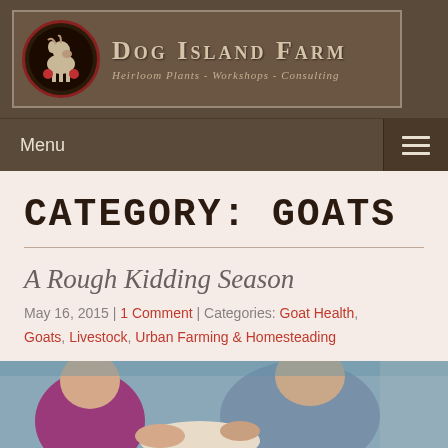[Figure (logo): Dog Island Farm logo with goat illustration in circular border, text reads 'Dog Island Farm - Heirloom Plants - Workshops - Consulting']
Menu
CATEGORY: GOATS
A Rough Kidding Season
May 16, 2015 | 1 Comment | Categories: Goat Health, Goats, Livestock, Urban Farming & Homesteading
[Figure (photo): Photo of people working with a goat during kidding season]